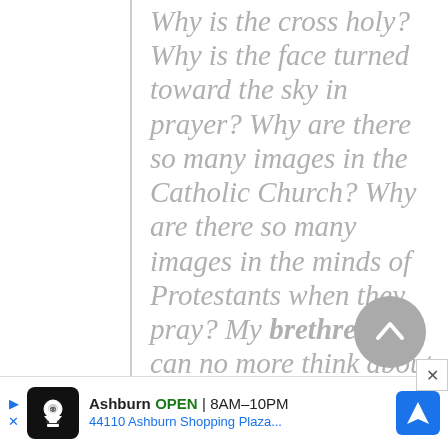Why is the cross holy? Why is the face turned toward the sky in prayer? Why are there so many images in the Catholic Church? Why are there so many images in the minds of Protestants when they pray? My brethren, we can no more think about anything without a mental image than we can live without breathing—By the law of association the material
[Figure (other): Grey circular scroll-to-top button with upward chevron arrow]
[Figure (other): Advertisement banner for a local business: Ashburn, OPEN 8AM-10PM, 44110 Ashburn Shopping Plaza...]